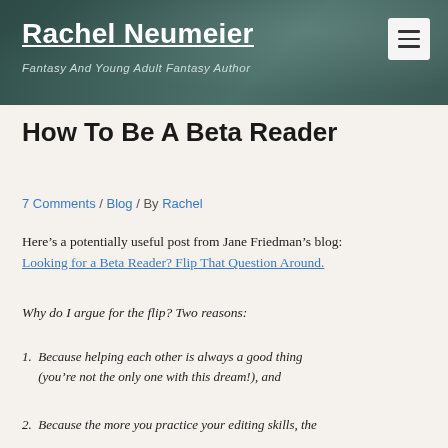Rachel Neumeier — Fantasy And Young Adult Fantasy Author
How To Be A Beta Reader
7 Comments / Blog / By Rachel
Here’s a potentially useful post from Jane Friedman’s blog: Looking for a Beta Reader? Flip That Question Around.
Why do I argue for the flip? Two reasons:
Because helping each other is always a good thing (you’re not the only one with this dream!), and
Because the more you practice your editing skills, the